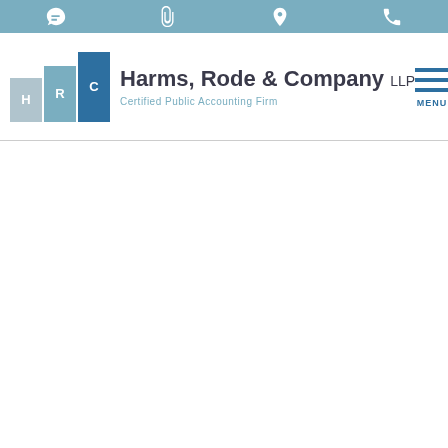[Figure (infographic): Top navigation bar with four icons: chat bubble, paperclip, location pin, and phone, displayed in white on a steel blue background]
[Figure (logo): Harms, Rode & Company LLP logo consisting of three stacked rectangular blocks labeled H, R, C in ascending heights with colors light blue-gray, medium blue, and dark blue, next to the company name 'Harms, Rode & Company LLP' and subtitle 'Certified Public Accounting Firm', with a hamburger MENU icon on the right]